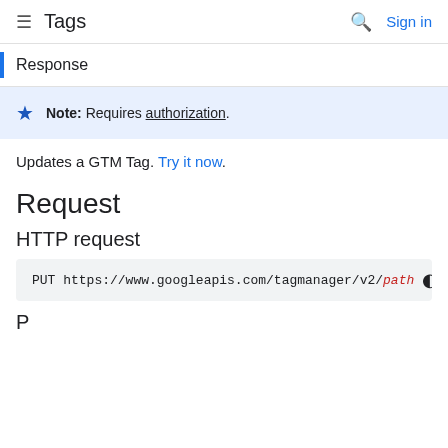Tags  Sign in
Response
Note: Requires authorization.
Updates a GTM Tag. Try it now.
Request
HTTP request
PUT https://www.googleapis.com/tagmanager/v2/path
P